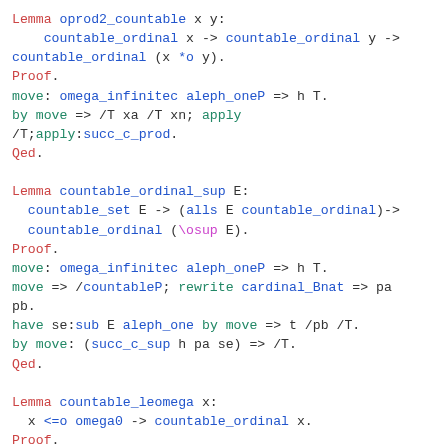Lemma oprod2_countable x y:
    countable_ordinal x -> countable_ordinal y ->
countable_ordinal (x *o y).
Proof.
move: omega_infinitec aleph_oneP => h T.
by move => /T xa /T xn; apply
/T;apply:succ_c_prod.
Qed.
Lemma countable_ordinal_sup E:
  countable_set E -> (alls E countable_ordinal)->
  countable_ordinal (\osup E).
Proof.
move: omega_infinitec aleph_oneP => h T.
move => /countableP; rewrite cardinal_Bnat => pa
pb.
have se:sub E aleph_one by move => t /pb /T.
by move: (succ_c_sup h pa se) => /T.
Qed.
Lemma countable_leomega x:
  x <=o omega0 -> countable_ordinal x.
Proof.
move => [ox oo xo]; split => //; by apply:
sub_smaller.
Qed.
Lemma countable_one: countable_ordinal \1c.